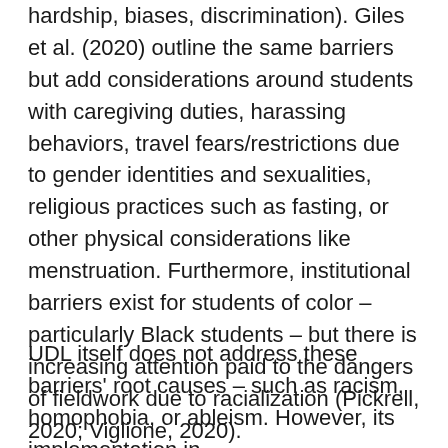hardship, biases, discrimination). Giles et al. (2020) outline the same barriers but add considerations around students with caregiving duties, harassing behaviors, travel fears/restrictions due to gender identities and sexualities, religious practices such as fasting, or other physical considerations like menstruation. Furthermore, institutional barriers exist for students of color – particularly Black students – but there is increasing attention paid to the dangers of fieldwork due to racialization (Pickrell, 2020; Viglione, 2020).
UDL itself does not address these barriers' root causes – such as racism, homophobia, or ableism. However, its implementation in